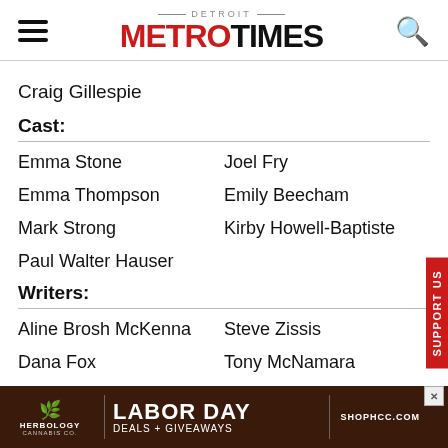Detroit Metro Times
Craig Gillespie
Cast:
Emma Stone
Joel Fry
Emma Thompson
Emily Beecham
Mark Strong
Kirby Howell-Baptiste
Paul Walter Hauser
Writers:
Aline Brosh McKenna
Steve Zissis
Dana Fox
Tony McNamara
[Figure (infographic): Herbology Cannabis Co. Labor Day Deals + Giveaways ad banner with shophcc.com]